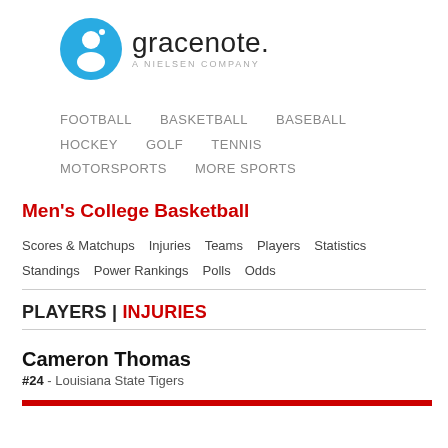[Figure (logo): Gracenote logo: blue circle with white 'g' icon, text 'gracenote.' and 'A NIELSEN COMPANY' below]
FOOTBALL   BASKETBALL   BASEBALL
HOCKEY   GOLF   TENNIS
MOTORSPORTS   MORE SPORTS
Men's College Basketball
Scores & Matchups   Injuries   Teams   Players   Statistics
Standings   Power Rankings   Polls   Odds
PLAYERS | INJURIES
Cameron Thomas
#24 - Louisiana State Tigers